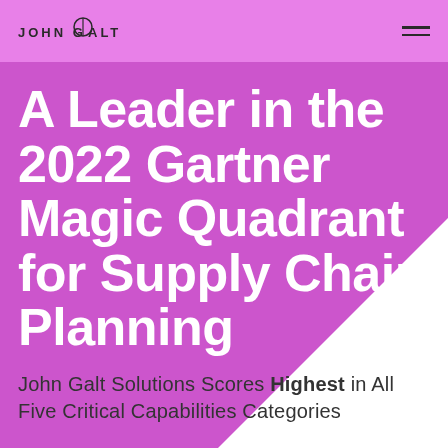JOHN GALT
A Leader in the 2022 Gartner Magic Quadrant for Supply Chain Planning
John Galt Solutions Scores Highest in All Five Critical Capabilities Categories